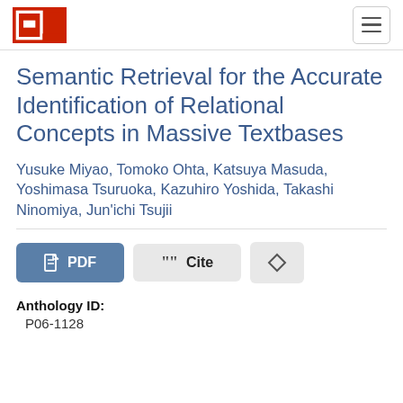ACL Anthology
Semantic Retrieval for the Accurate Identification of Relational Concepts in Massive Textbases
Yusuke Miyao, Tomoko Ohta, Katsuya Masuda, Yoshimasa Tsuruoka, Kazuhiro Yoshida, Takashi Ninomiya, Jun'ichi Tsujii
PDF   Cite
Anthology ID:
  P06-1128